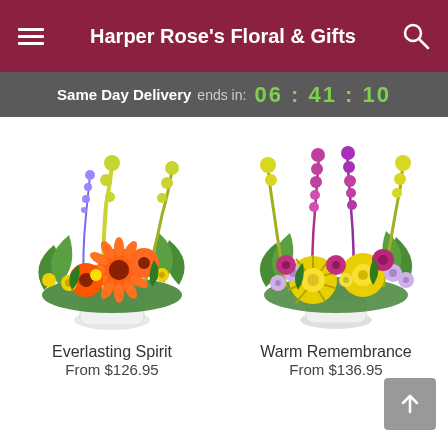Harper Rose's Floral & Gifts
Same Day Delivery ends in: 06 : 41 : 10
[Figure (photo): Flower arrangement in white vase with orange gerberas, yellow flowers, and purple accents — Everlasting Spirit]
Everlasting Spirit
From $126.95
[Figure (photo): Flower arrangement in white vase with pink/magenta foxgloves, yellow spider mums, and lavender flowers — Warm Remembrance]
Warm Remembrance
From $136.95